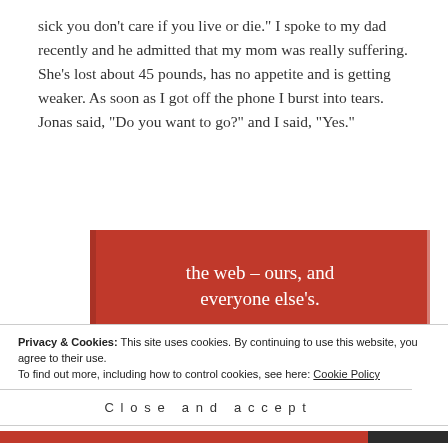sick you don’t care if you live or die.” I spoke to my dad recently and he admitted that my mom was really suffering. She’s lost about 45 pounds, has no appetite and is getting weaker. As soon as I got off the phone I burst into tears. Jonas said, “Do you want to go?” and I said, “Yes.”
[Figure (infographic): Red advertisement banner reading 'the web – ours, and everyone else’s.' with a black 'Start reading' button]
Privacy & Cookies: This site uses cookies. By continuing to use this website, you agree to their use.
To find out more, including how to control cookies, see here: Cookie Policy
Close and accept